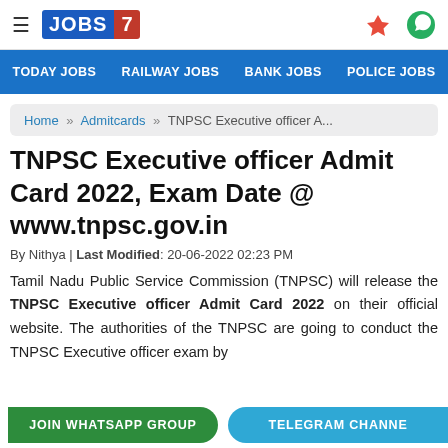JOBS 7 — Today Jobs | Railway Jobs | Bank Jobs | Police Jobs
Home » Admitcards » TNPSC Executive officer A...
TNPSC Executive officer Admit Card 2022, Exam Date @ www.tnpsc.gov.in
By Nithya | Last Modified: 20-06-2022 02:23 PM
Tamil Nadu Public Service Commission (TNPSC) will release the TNPSC Executive officer Admit Card 2022 on their official website. The authorities of the TNPSC are going to conduct the TNPSC Executive officer exam by
JOIN WHATSAPP GROUP   TELEGRAM CHANNEL